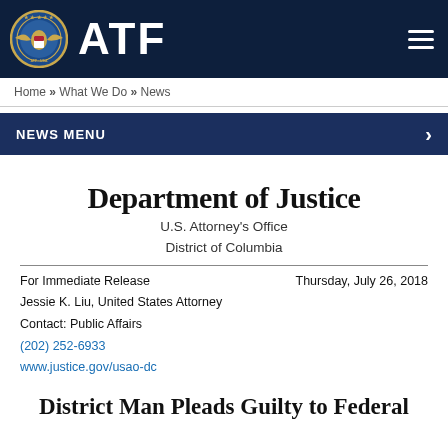ATF
Home » What We Do » News
NEWS MENU
Department of Justice
U.S. Attorney's Office
District of Columbia
For Immediate Release    Thursday, July 26, 2018
Jessie K. Liu, United States Attorney
Contact: Public Affairs
(202) 252-6933
www.justice.gov/usao-dc
District Man Pleads Guilty to Federal